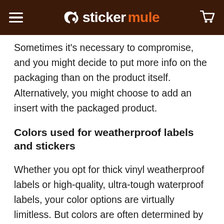stickermule
Sometimes it's necessary to compromise, and you might decide to put more info on the packaging than on the product itself. Alternatively, you might choose to add an insert with the packaged product.
Colors used for weatherproof labels and stickers
Whether you opt for thick vinyl weatherproof labels or high-quality, ultra-tough waterproof labels, your color options are virtually limitless. But colors are often determined by branding requirements, typically starting with a logo. At the same time, branding is much more than a color and/or logo. It